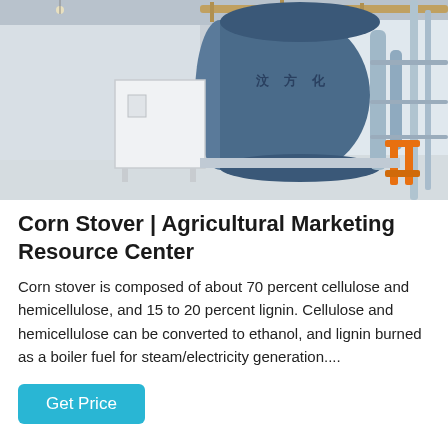[Figure (photo): Industrial boiler equipment in a factory setting. A large blue cylindrical boiler with Chinese characters, surrounded by pipes and scaffolding. A white control cabinet stands in front. Orange machinery visible on the right.]
Corn Stover | Agricultural Marketing Resource Center
Corn stover is composed of about 70 percent cellulose and hemicellulose, and 15 to 20 percent lignin. Cellulose and hemicellulose can be converted to ethanol, and lignin burned as a boiler fuel for steam/electricity generation....
Get Price